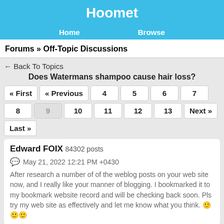Hoomet
Home   Browse
Forums » Off-Topic Discussions
← Back To Topics
Does Watermans shampoo cause hair loss?
« First  « Previous  4  5  6  7  8  9  10  11  12  13  Next »  Last »
Edward FOIX  84302 posts
May 21, 2022 12:21 PM +0430
After research a number of of the weblog posts on your web site now, and I really like your manner of blogging. I bookmarked it to my bookmark website record and will be checking back soon. Pls try my web site as effectively and let me know what you think. 🙂🙂🙂
Edward FOIX  84302 posts
May 21, 2022 12:21 PM +0430